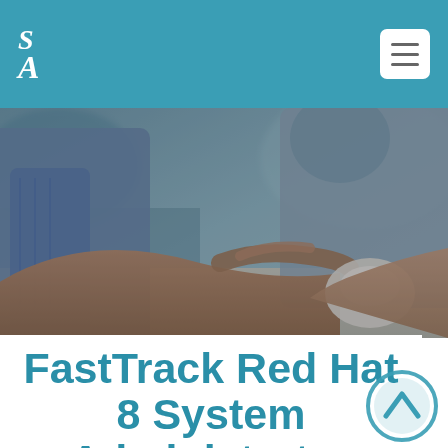SA | menu
[Figure (photo): Close-up photo of a person's hands using a computer mouse at a desk, wearing a denim jacket. Another person partially visible in background.]
FastTrack Red Hat 8 System Administrator